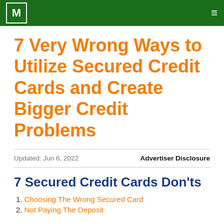M
7 Very Wrong Ways to Utilize Secured Credit Cards and Create Bigger Credit Problems
Updated: Jun 6, 2022    Advertiser Disclosure
7 Secured Credit Cards Don'ts
1. Choosing The Wrong Secured Card
2. Not Paying The Deposit